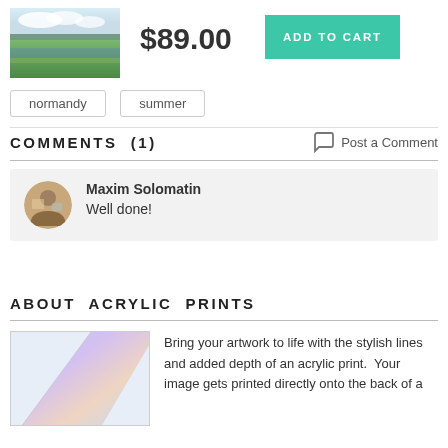[Figure (photo): Small thumbnail of a landscape painting showing a green field with flowers under a cloudy sky]
$89.00
ADD TO CART
normandy
summer
COMMENTS  (1)
Post a Comment
[Figure (photo): Avatar photo of Maxim Solomatin]
Maxim Solomatin
Well done!
ABOUT  ACRYLIC  PRINTS
[Figure (photo): Corner of an acrylic print showing iridescent surface]
Bring your artwork to life with the stylish lines and added depth of an acrylic print.  Your image gets printed directly onto the back of a